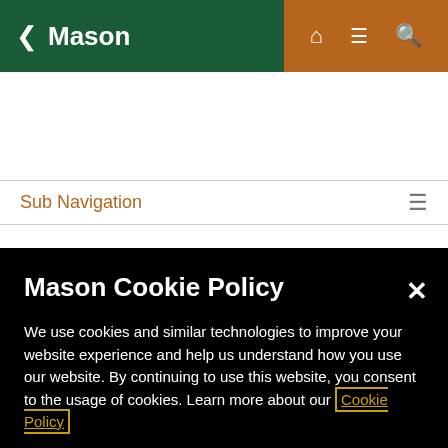Mason
Sub Navigation
The Schar School Undergraduate Research Assistant
Mason Cookie Policy
We use cookies and similar technologies to improve your website experience and help us understand how you use our website. By continuing to use this website, you consent to the usage of cookies. Learn more about our Cookie Policy
Cookie Preferences
Accept Cookies